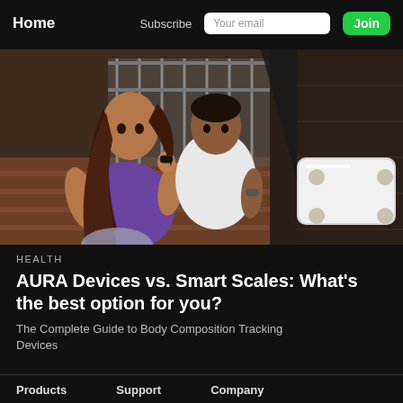Home  Subscribe  Your email  Join
[Figure (photo): Split composite photo: left side shows a woman in purple tank top and a man in white t-shirt sitting on outdoor stairs with fitness wristbands; right side shows a white smart body composition scale on a dark wooden floor.]
HEALTH
AURA Devices vs. Smart Scales: What's the best option for you?
The Complete Guide to Body Composition Tracking Devices
Products  Support  Company